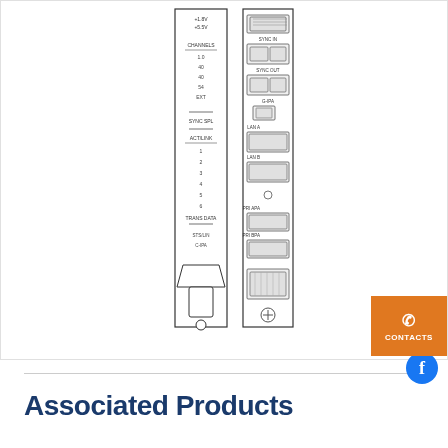[Figure (engineering-diagram): Technical engineering diagram showing two vertical views of a network/telecom card or module. Left view shows front panel with labels: +1.8V, +5.5V, CHANNELS (1.0, 40, 40, 54, EXT), SYNC SPL, ACT/LINK (1,2,3,4,5,6), TRANS DATA, STS/LIN, C-IPA. Right view shows rear/connector panel with ports labeled: SYNC IN, SYNC OUT, G-IPA (USB), LAN A, LAN B, PRI APA, PRI BPA, and terminal connectors.]
Associated Products